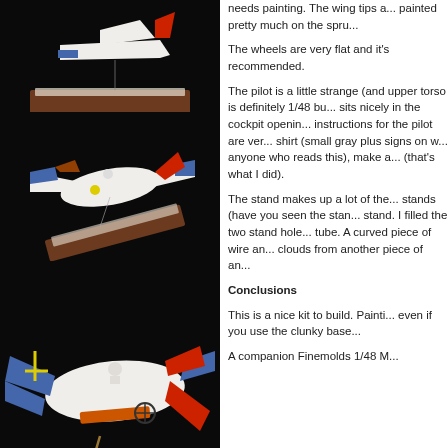[Figure (photo): Model airplane/bird on stand with display base, dark background]
[Figure (photo): Model airplane/bird in flight pose on stand with display base, dark background, copyright 2014 Jim James click to enlarge]
[Figure (photo): Close-up view of model airplane/bird from below/side angle, dark background]
needs painting. The wing tips a... painted pretty much on the spru...
The wheels are very flat and it's recommended.
The pilot is a little strange (and upper torso is definitely 1/48 bu... sits nicely in the cockpit openin... instructions for the pilot are ver... shirt (small gray plus signs on w... anyone who reads this), make a... (that's what I did).
The stand makes up a lot of the... stands (have you seen the stan... stand. I filled the two stand hole... tube. A curved piece of wire an... clouds from another piece of an...
Conclusions
This is a nice kit to build. Painti... even if you use the clunky base...
A companion Finemolds 1/48 M...